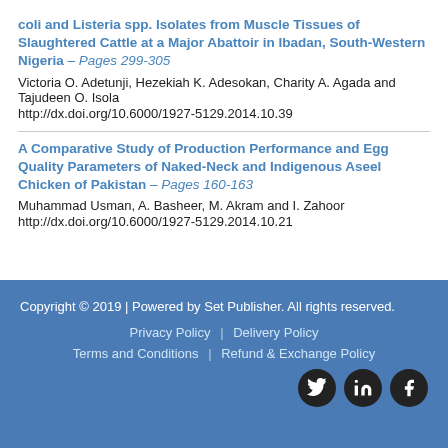coli and Listeria spp. Isolates from Muscle Tissues of Slaughtered Cattle at a Major Abattoir in Ibadan, South-Western Nigeria – Pages 299-305
Victoria O. Adetunji, Hezekiah K. Adesokan, Charity A. Agada and Tajudeen O. Isola
http://dx.doi.org/10.6000/1927-5129.2014.10.39
A Comparative Study of Production Performance and Egg Quality Parameters of Naked-Neck and Indigenous Aseel Chicken of Pakistan – Pages 160-163
Muhammad Usman, A. Basheer, M. Akram and I. Zahoor
http://dx.doi.org/10.6000/1927-5129.2014.10.21
Copyright © 2019 | Powered by Set Publisher. All rights reserved.
Privacy Policy | Delivery Policy
Terms and Conditions | Refund & Exchange Policy